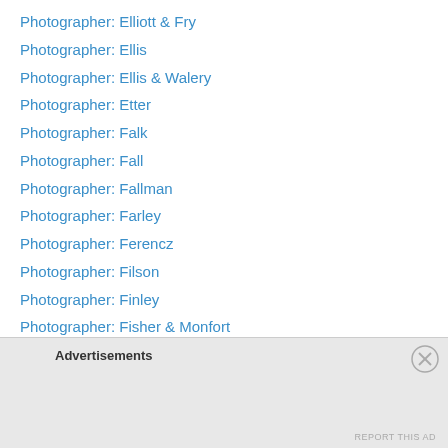Photographer: Elliott & Fry
Photographer: Ellis
Photographer: Ellis & Walery
Photographer: Etter
Photographer: Falk
Photographer: Fall
Photographer: Fallman
Photographer: Farley
Photographer: Ferencz
Photographer: Filson
Photographer: Finley
Photographer: Fisher & Monfort
Photographer: Flandrin
Photographer: Flaten
Photographer: Flint
Photographer: Flodin & Thyberg
Advertisements